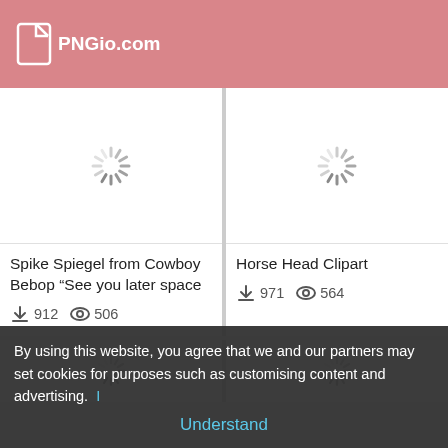PNGio.com
[Figure (screenshot): Loading spinner placeholder for image card: Spike Spiegel from Cowboy Bebop]
Spike Spiegel from Cowboy Bebop “See you later space
912  506
[Figure (screenshot): Loading spinner placeholder for image card: Horse Head Clipart]
Horse Head Clipart
971  564
[Figure (screenshot): Loading spinner placeholder bottom left card]
[Figure (screenshot): Loading spinner placeholder bottom right card]
By using this website, you agree that we and our partners may set cookies for purposes such as customising content and advertising.
Understand